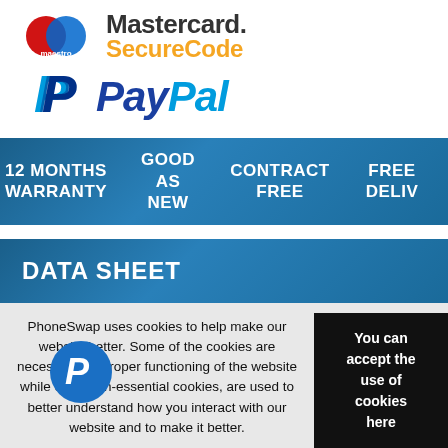[Figure (logo): Mastercard SecureCode and Maestro logo with red and blue overlapping circles]
[Figure (logo): PayPal logo with blue stylized P and PayPal italic text]
[Figure (infographic): Blue gradient banner with white bold text: 12 MONTHS WARRANTY, GOOD AS NEW, CONTRACT FREE, FREE DELIV]
DATA SHEET
PhoneSwap uses cookies to help make our website better. Some of the cookies are necessary for proper functioning of the website while other non-essential cookies, are used to better understand how you interact with our website and to make it better.
You can accept the use of cookies here